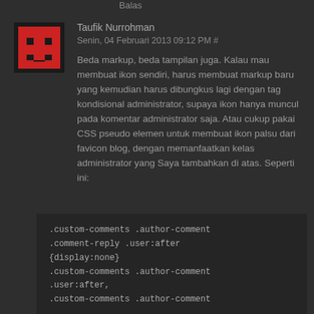Balas
Taufik Nurrohman
Senin, 04 Februari 2013 09:12 PM #
Beda markup, beda tampilan juga. Kalau mau membuat ikon sendiri, harus membuat markup baru yang kemudian harus dibungkus lagi dengan tag kondisional administrator, supaya ikon hanya muncul pada komentar administrator saja. Atau cukup pakai CSS pseudo elemen untuk membuat ikon palsu dari favicon blog, dengan memanfaatkan kelas administrator yang Saya tambahkan di atas. Seperti ini:
[Figure (other): Pixel art avatar: red smiley face on black background]
.custom-comments .author-comment
.comment-reply .user:after
{display:none}
.custom-comments .author-comment
.user:after,
.custom-comments .author-comment